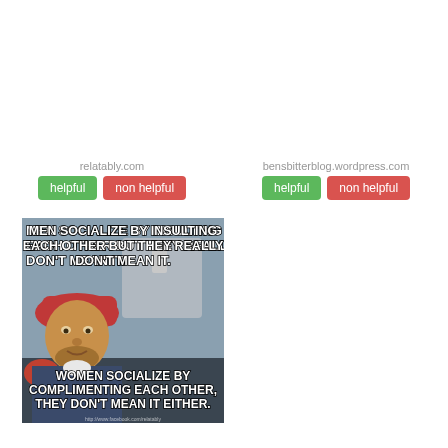relatably.com
helpful   non helpful
bensbitterblog.wordpress.com
helpful   non helpful
[Figure (photo): Meme image of a man wearing a pink/red cap with text: top - 'MEN SOCIALIZE BY INSULTING EACH OTHER BUT THEY REALLY DON'T MEAN IT.' bottom - 'WOMEN SOCIALIZE BY COMPLIMENTING EACH OTHER, THEY DON'T MEAN IT EITHER.']